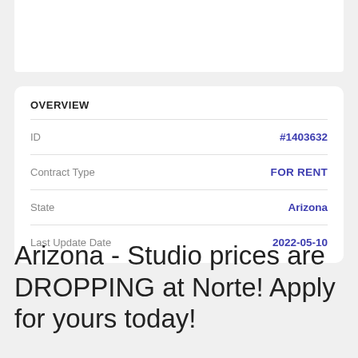OVERVIEW
| Field | Value |
| --- | --- |
| ID | #1403632 |
| Contract Type | FOR RENT |
| State | Arizona |
| Last Update Date | 2022-05-10 |
Arizona - Studio prices are DROPPING at Norte! Apply for yours today!